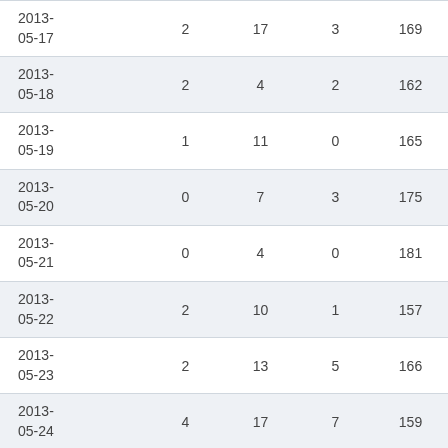| Date |  |  |  |  |
| --- | --- | --- | --- | --- |
| 2013-05-17 | 2 | 17 | 3 | 169 |
| 2013-05-18 | 2 | 4 | 2 | 162 |
| 2013-05-19 | 1 | 11 | 0 | 165 |
| 2013-05-20 | 0 | 7 | 3 | 175 |
| 2013-05-21 | 0 | 4 | 0 | 181 |
| 2013-05-22 | 2 | 10 | 1 | 157 |
| 2013-05-23 | 2 | 13 | 5 | 166 |
| 2013-05-24 | 4 | 17 | 7 | 159 |
| 2013-05-25 | 3 | 11 | 3 | 161 |
| 2013-05-26 | 0 | 12 | 3 | 140 |
| 2013-05-27 | 0 | 6 | 1 | 147 |